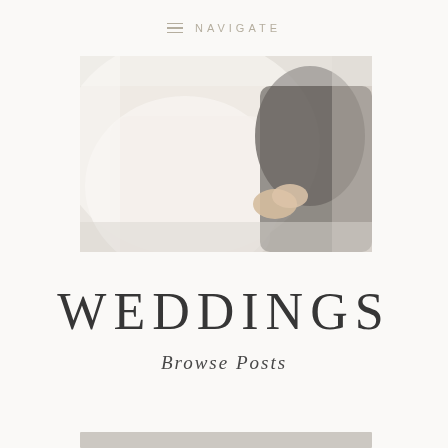NAVIGATE
[Figure (photo): A close-up wedding photo showing a person in white (bride) and a person in dark clothing (groom), soft focus romantic image]
WEDDINGS
Browse Posts